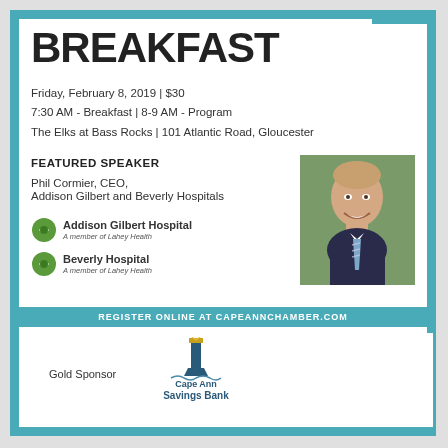BREAKFAST
Friday, February 8, 2019 | $30
7:30 AM - Breakfast | 8-9 AM - Program
The Elks at Bass Rocks | 101 Atlantic Road, Gloucester
FEATURED SPEAKER
Phil Cormier, CEO,
Addison Gilbert and Beverly Hospitals
[Figure (photo): Headshot of Phil Cormier, a bald man in a dark suit with striped tie, smiling]
[Figure (logo): Addison Gilbert Hospital - A member of Lahey Health logo]
[Figure (logo): Beverly Hospital - A member of Lahey Health logo]
Phil Cormier, CEO of Addison Gilbert and Beverly Hospitals, part of Lahey Health will address the state of the health care industry nationally, discuss the recent merger of Lahey and Beth Israel Hospitals, and the future of our local hospitals.
REGISTER ONLINE AT CAPEANNCHAMBER.COM
Gold Sponsor
[Figure (logo): Cape Ann Savings Bank logo]